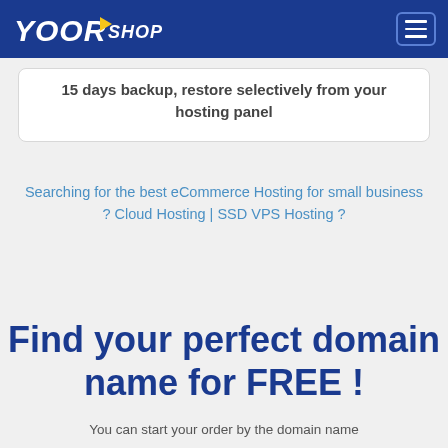YOORshop
15 days backup, restore selectively from your hosting panel
Searching for the best eCommerce Hosting for small business ? Cloud Hosting | SSD VPS Hosting ?
Find your perfect domain name for FREE !
You can start your order by the domain name